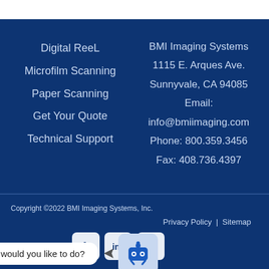Digital ReeL
Microfilm Scanning
Paper Scanning
Get Your Quote
Technical Support
BMI Imaging Systems
1115 E. Arques Ave.
Sunnyvale, CA 94085
Email: info@bmiimaging.com
Phone: 800.359.3456
Fax: 408.736.4397
Copyright ©2022 BMI Imaging Systems, Inc.
Privacy Policy | Sitemap
[Figure (other): Social media icons (Facebook, LinkedIn, RSS feed) and chatbot widget with message 'What would you like to do?']